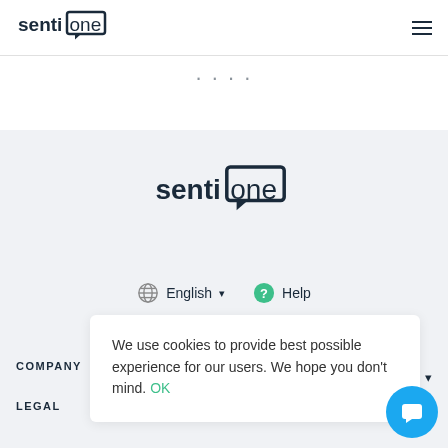SentiOne logo and navigation bar
[Figure (logo): SentiOne logo in top navigation bar]
[Figure (logo): SentiOne logo centered on gray background]
English  Help
COMPANY
LEGAL
We use cookies to provide best possible experience for our users. We hope you don't mind. OK